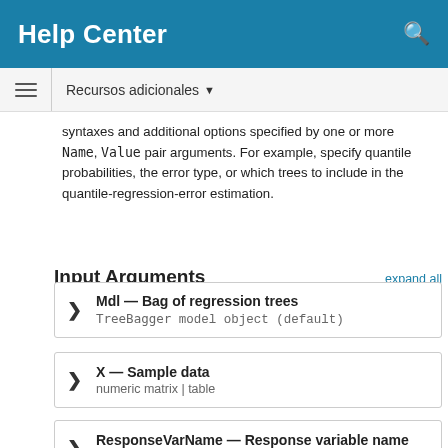Help Center
Recursos adicionales
syntaxes and additional options specified by one or more Name, Value pair arguments. For example, specify quantile probabilities, the error type, or which trees to include in the quantile-regression-error estimation.
Input Arguments
expand all
Mdl — Bag of regression trees
TreeBagger model object (default)
X — Sample data
numeric matrix | table
ResponseVarName — Response variable name
character vector | string scalar